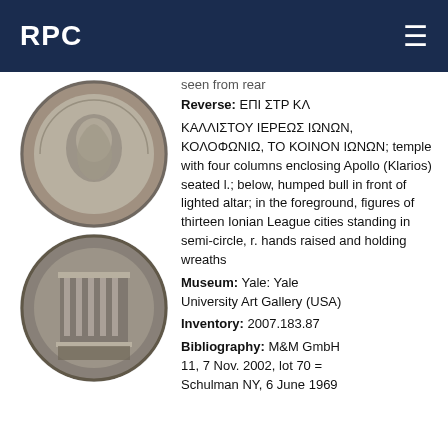RPC
[Figure (photo): Two ancient coins shown: obverse (top) showing a portrait bust with inscription around the rim, and reverse (bottom) showing a temple with columns and figures]
seen from rear
Reverse: ΕΠΙ ΣΤΡ ΚΛ
ΚΑΛΛΙΣΤΟΥ ΙΕΡΕΩΣ ΙΩΝΩΝ, ΚΟΛΟΦΩΝΙΩ, ΤΟ ΚΟΙΝΟΝ ΙΩΝΩΝ; temple with four columns enclosing Apollo (Klarios) seated l.; below, humped bull in front of lighted altar; in the foreground, figures of thirteen Ionian League cities standing in semi-circle, r. hands raised and holding wreaths
Museum: Yale: Yale University Art Gallery (USA)
Inventory: 2007.183.87
Bibliography: M&M GmbH 11, 7 Nov. 2002, lot 70 = Schulman NY, 6 June 1969